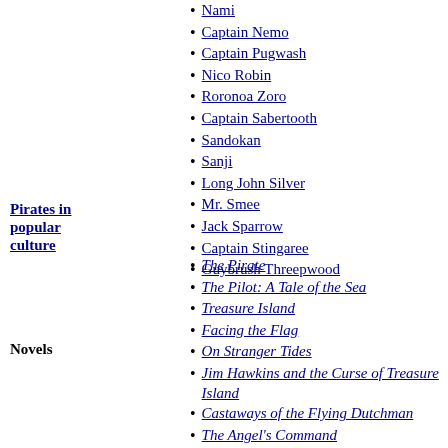Nami
Captain Nemo
Captain Pugwash
Nico Robin
Roronoa Zoro
Captain Sabertooth
Sandokan
Sanji
Long John Silver
Mr. Smee
Jack Sparrow
Captain Stingaree
Guybrush Threepwood
Pirates in popular culture
The Pirate
The Pilot: A Tale of the Sea
Treasure Island
Facing the Flag
On Stranger Tides
Jim Hawkins and the Curse of Treasure Island
Castaways of the Flying Dutchman
The Angel's Command
Voyage of Slaves
Novels